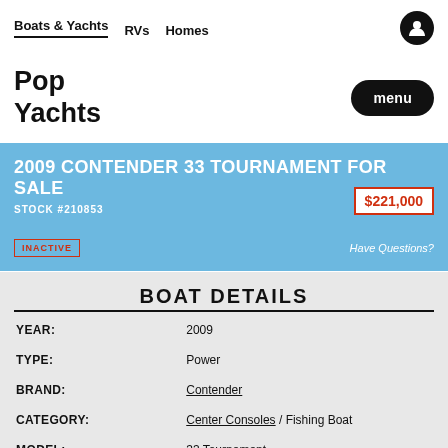Boats & Yachts  RVs  Homes
Pop Yachts
2009 CONTENDER 33 TOURNAMENT FOR SALE
STOCK #210853
$221,000
INACTIVE
Have Questions?
BOAT DETAILS
| Field | Value |
| --- | --- |
| YEAR: | 2009 |
| TYPE: | Power |
| BRAND: | Contender |
| CATEGORY: | Center Consoles / Fishing Boat |
| MODEL: | 33 Tournament |
| LENGTH (LOA): | 34' 5" |